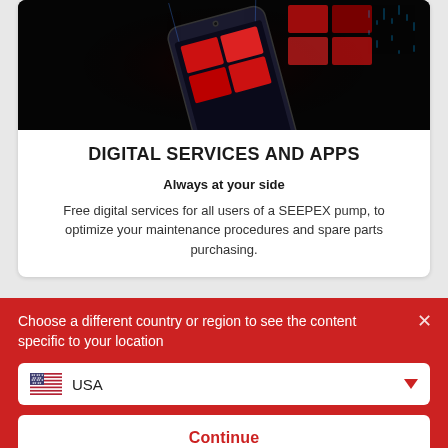[Figure (illustration): Smartphone with red grid/app tiles floating above it on dark background]
DIGITAL SERVICES AND APPS
Always at your side
Free digital services for all users of a SEEPEX pump, to optimize your maintenance procedures and spare parts purchasing.
[Figure (screenshot): Dark background with blue digital matrix/code pattern]
Choose a different country or region to see the content specific to your location
USA
Continue